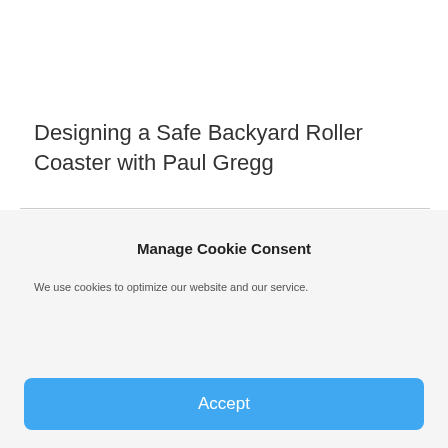Designing a Safe Backyard Roller Coaster with Paul Gregg
Manage Cookie Consent
We use cookies to optimize our website and our service.
Accept